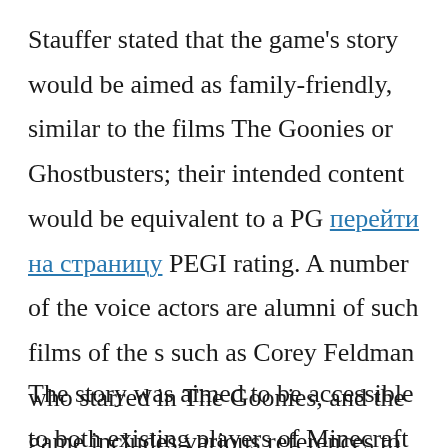Stauffer stated that the game's story would be aimed as family-friendly, similar to the films The Goonies or Ghostbusters; their intended content would be equivalent to a PG перейти на страницу PEGI rating. A number of the voice actors are alumni of such films of the s such as Corey Feldman who starred in The Goonies, and the game includes various references to these types of films.
The story was aimed to be accessible to both existing players of Minecraft — both novice